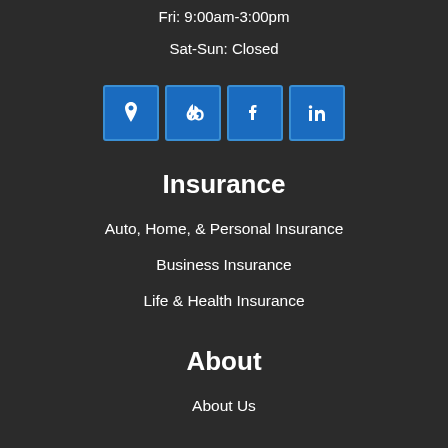Mon-Thu: 9:00am-5:00pm
Fri: 9:00am-3:00pm
Sat-Sun: Closed
[Figure (other): Four social media icon buttons (Google Maps pin, Yelp, Facebook, LinkedIn) in blue squares]
Insurance
Auto, Home, & Personal Insurance
Business Insurance
Life & Health Insurance
About
About Us